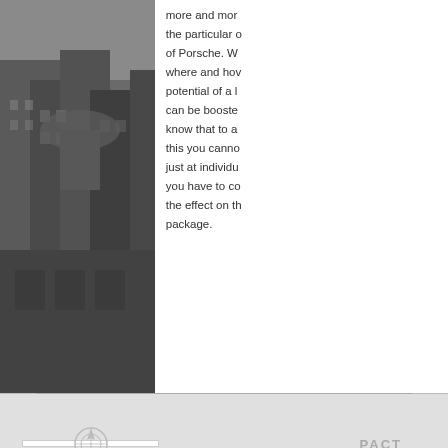[Figure (photo): Black and white photograph of a city building/skyscraper in the background, occupying the left portion of the page.]
more and more the particular of Porsche. W where and how potential of a l can be booste know that to a this you canno just at individu you have to co the effect on the package.
[Figure (logo): Logo on the bottom left (Porsche crest or similar circular logo in white box)]
[Figure (logo): Text logo on the bottom right reading PACT or similar abbreviation]